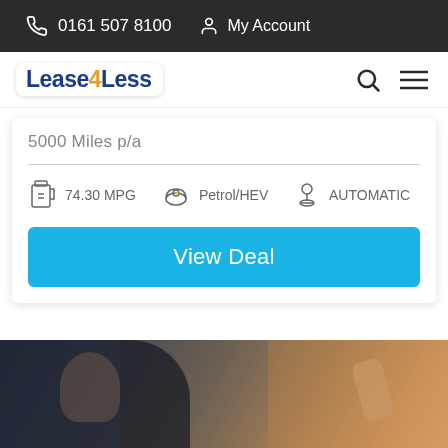0161 507 8100  My Account
[Figure (logo): Lease4Less logo with blue text and orange 4]
5000 Miles p/a
74.30 MPG  Petrol/HEV  AUTOMATIC
View Deal
[Figure (photo): Man in car looking up, with a hand visible, warm lighting]